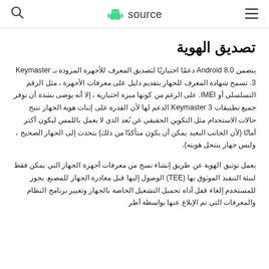source
تصديق الهوية
يتضمن Android 8.0 دعمًا اختياريًا لتصديق المعرف للأجهزة المزودة بـ Keymaster 3. تسمح شهادة المعرف للجهاز بتقديم دليل على معرفات الأجهزة ، مثل الرقم التسلسلي أو IMEI. على الرغم من كونها ميزة اختيارية ، إلا أنه يوصى بشدة أن توفر جميع تطبيقات Keymaster 3 الدعم لها لأن القدرة على إثبات هوية الجهاز تتيح حالات الاستخدام مثل التكوين الحقيقي عن بُعد الذي لا يعمل باللمس ليكون أكثر أمانًا (لأن الجانب البعيد يمكن أن يكون متأكدًا من ذلك) يتحدث إلى الجهاز الصحيح ، وليس جهاز ينتحل هويته).
يعمل توثيق الهوية عن طريق إنشاء نسخ من معرفات أجهزة الجهاز التي يمكن فقط لبيئة التنفيذ الموثوق بها (TEE) الوصول إليها قبل مغادرة الجهاز للمصنع. يجوز للمستخدم إلغاء قفل أداة تحميل التشغيل الخاصة بالجهاز وتغيير برنامج النظام والمعرفات التي تم الإبلاغ عنها بواسطة أطر